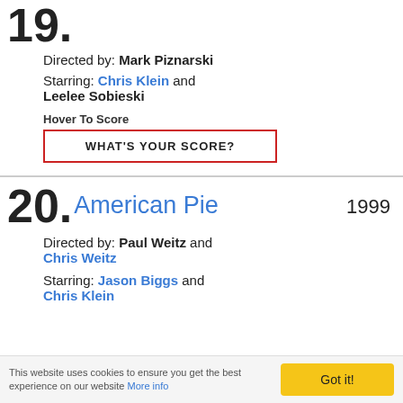19. Directed by: Mark Piznarski
Starring: Chris Klein and Leelee Sobieski
Hover To Score
WHAT'S YOUR SCORE?
20. American Pie 1999
Directed by: Paul Weitz and Chris Weitz
Starring: Jason Biggs and Chris Klein
This website uses cookies to ensure you get the best experience on our website More info
Got it!